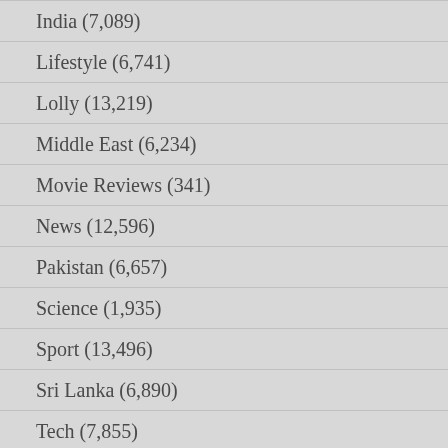India (7,089)
Lifestyle (6,741)
Lolly (13,219)
Middle East (6,234)
Movie Reviews (341)
News (12,596)
Pakistan (6,657)
Science (1,935)
Sport (13,496)
Sri Lanka (6,890)
Tech (7,855)
Travel (516)
UK (5,259)